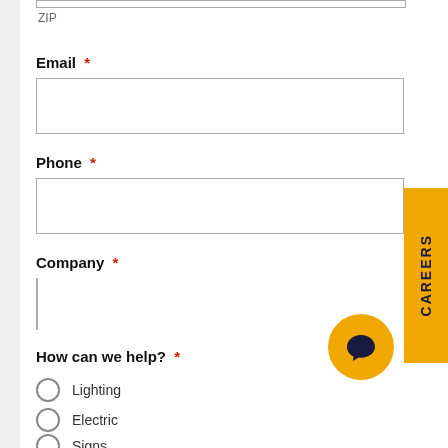ZIP
Email *
Phone *
Company *
How can we help? *
Lighting
Electric
Signs